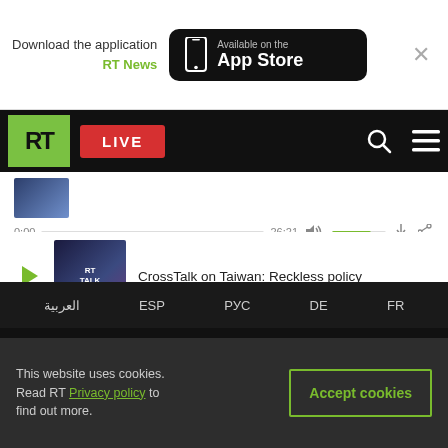[Figure (screenshot): App Store download banner with RT News text and Available on the App Store button, with close X button]
[Figure (screenshot): RT website navigation bar with green RT logo, red LIVE button, search icon, and hamburger menu]
0:00  26:21
CrossTalk on Taiwan: Reckless policy
0:00  24:2
العربية  ESP  РУС  DE  FR
This website uses cookies. Read RT Privacy policy to find out more.
Accept cookies